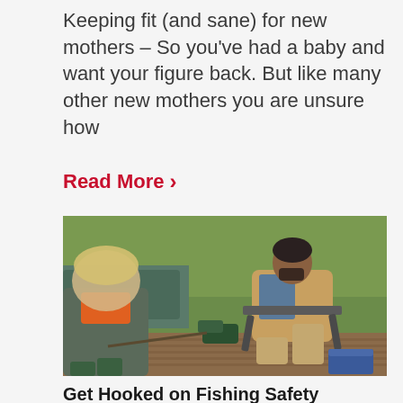Keeping fit (and sane) for new mothers – So you've had a baby and want your figure back. But like many other new mothers you are unsure how
Read More >
[Figure (photo): A man sitting in a folding chair on a wooden dock by a pond, talking to a young boy wearing an orange and grey jacket and green wellington boots. Fishing equipment visible. Green grass in background.]
Get Hooked on Fishing Safety